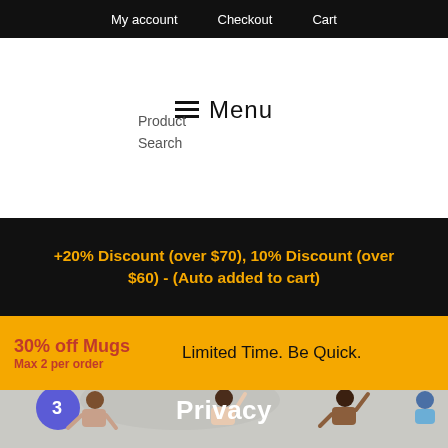My account   Checkout   Cart
☰ Menu
Product
Search
+20% Discount (over $70), 10% Discount (over $60) - (Auto added to cart)
30% off Mugs
Max 2 per order
Limited Time. Be Quick.
[Figure (illustration): Illustrated scene of people celebrating, with a 'Privacy' title overlay in white bold text]
Privacy